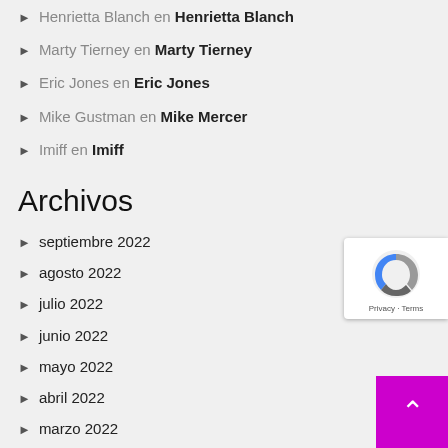Henrietta Blanch en Henrietta Blanch
Marty Tierney en Marty Tierney
Eric Jones en Eric Jones
Mike Gustman en Mike Mercer
Imiff en Imiff
Archivos
septiembre 2022
agosto 2022
julio 2022
junio 2022
mayo 2022
abril 2022
marzo 2022